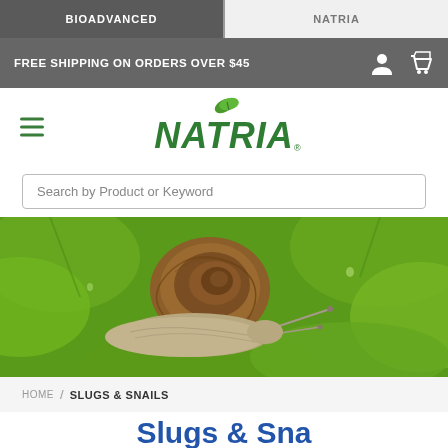BIOADVANCED | NATRIA
FREE SHIPPING ON ORDERS OVER $45
[Figure (logo): Natria brand logo with green leaf and green italic text]
Search by Product or Keyword
[Figure (photo): Close-up photograph of a garden snail with a brown spiral shell crawling on bright green lettuce leaves]
HOME / SLUGS & SNAILS
Slugs & Snails